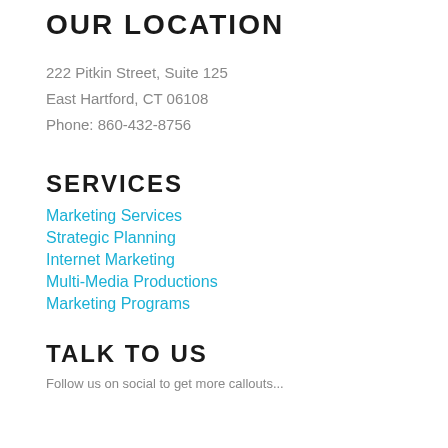OUR LOCATION
222 Pitkin Street, Suite 125
East Hartford, CT 06108
Phone: 860-432-8756
SERVICES
Marketing Services
Strategic Planning
Internet Marketing
Multi-Media Productions
Marketing Programs
TALK TO US
Follow us on social to get more callouts...